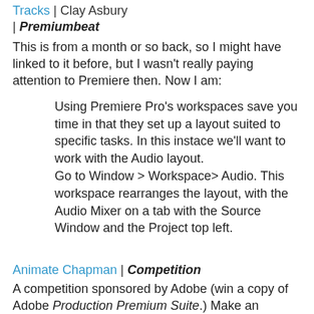Tracks | Clay Asbury | Premiumbeat
This is from a month or so back, so I might have linked to it before, but I wasn't really paying attention to Premiere then. Now I am:
Using Premiere Pro's workspaces save you time in that they set up a layout suited to specific tasks. In this instace we'll want to work with the Audio layout.
Go to Window > Workspace> Audio. This workspace rearranges the layout, with the Audio Mixer on a tab with the Source Window and the Project top left.
Animate Chapman | Competition
A competition sponsored by Adobe (win a copy of Adobe Production Premium Suite.) Make an animation based on an audio clip of the late Graham Chapman:
In celebration of the new 3D animated feature